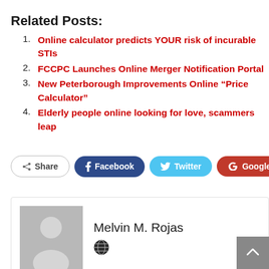Related Posts:
Online calculator predicts YOUR risk of incurable STIs
FCCPC Launches Online Merger Notification Portal
New Peterborough Improvements Online “Price Calculator”
Elderly people online looking for love, scammers leap
[Figure (other): Social share buttons row: Share, Facebook, Twitter, Google+, plus button]
[Figure (other): Author box with avatar placeholder and name Melvin M. Rojas with globe icon]